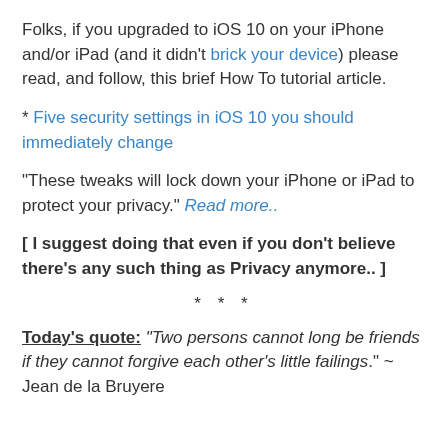Folks, if you upgraded to iOS 10 on your iPhone and/or iPad (and it didn't brick your device) please read, and follow, this brief How To tutorial article.
* Five security settings in iOS 10 you should immediately change
“These tweaks will lock down your iPhone or iPad to protect your privacy.” Read more..
[ I suggest doing that even if you don’t believe there’s any such thing as Privacy anymore.. ]
* * *
Today’s quote: “Two persons cannot long be friends if they cannot forgive each other’s little failings.” ~ Jean de la Bruyere